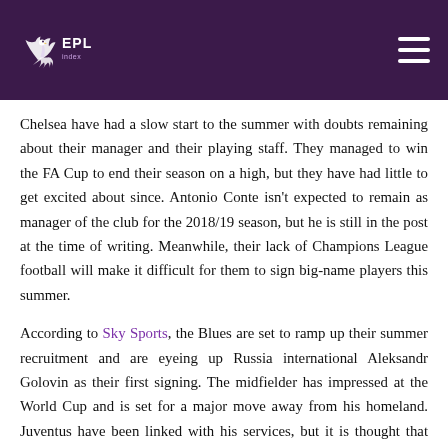EPL Index
Chelsea have had a slow start to the summer with doubts remaining about their manager and their playing staff. They managed to win the FA Cup to end their season on a high, but they have had little to get excited about since. Antonio Conte isn't expected to remain as manager of the club for the 2018/19 season, but he is still in the post at the time of writing. Meanwhile, their lack of Champions League football will make it difficult for them to sign big-name players this summer.
According to Sky Sports, the Blues are set to ramp up their summer recruitment and are eyeing up Russia international Aleksandr Golovin as their first signing. The midfielder has impressed at the World Cup and is set for a major move away from his homeland. Juventus have been linked with his services, but it is thought that Chelsea could be set to steal a march on the Serie A club who are refusing to meet the asking price of £35 million. The report goes on to...